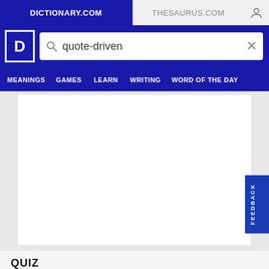DICTIONARY.COM   THESAURUS.COM
quote-driven
MEANINGS   GAMES   LEARN   WRITING   WORD OF THE DAY
[Figure (screenshot): Blank white advertisement content area]
FEEDBACK
QUIZ